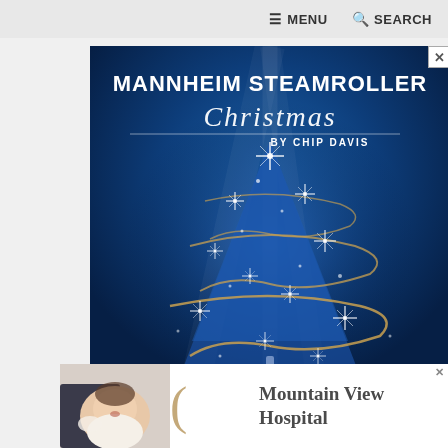≡ MENU   🔍 SEARCH
[Figure (illustration): Mannheim Steamroller Christmas by Chip Davis advertisement — dark blue background with a stylized blue Christmas tree made of light starbursts and swirling golden ribbons, white text at top reading MANNHEIM STEAMROLLER with cursive Christmas script and BY CHIP DAVIS below]
[Figure (illustration): Mountain View Hospital advertisement — white background with a baby photo on the left, a tan curved bracket shape in the middle, and bold text reading Mountain View Hospital on the right]